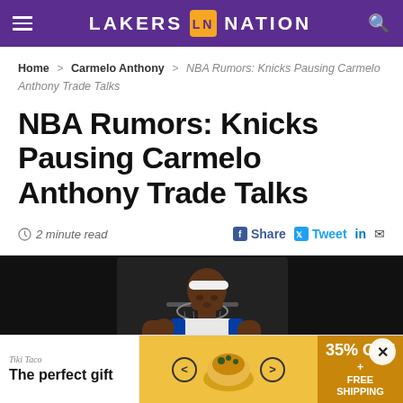LAKERS NATION
Home > Carmelo Anthony > NBA Rumors: Knicks Pausing Carmelo Anthony Trade Talks
NBA Rumors: Knicks Pausing Carmelo Anthony Trade Talks
2 minute read
Share Tweet in
[Figure (photo): Carmelo Anthony looking down, wearing a white headband and Knicks jersey, in front of a basketball hoop]
The perfect gift
35% OFF + FREE SHIPPING